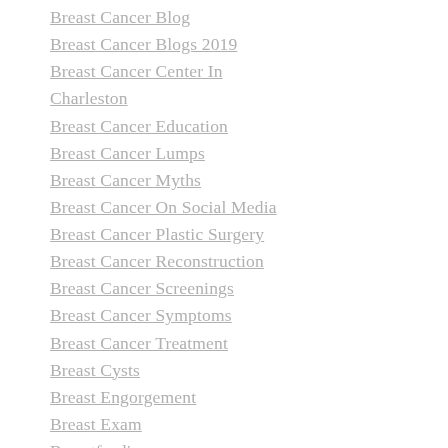Breast Cancer Blog
Breast Cancer Blogs 2019
Breast Cancer Center In Charleston
Breast Cancer Education
Breast Cancer Lumps
Breast Cancer Myths
Breast Cancer On Social Media
Breast Cancer Plastic Surgery
Breast Cancer Reconstruction
Breast Cancer Screenings
Breast Cancer Symptoms
Breast Cancer Treatment
Breast Cysts
Breast Engorgement
Breast Exam
Breastfeeding
Breast Feeding
Breast Imaging